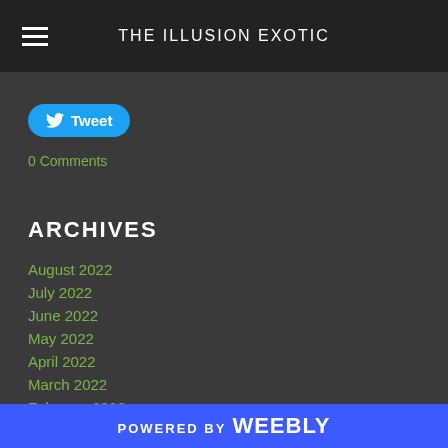THE ILLUSION EXOTIC
Tweet
0 Comments
ARCHIVES
August 2022
July 2022
June 2022
May 2022
April 2022
March 2022
February 2022
January 2022
December 2021
POWERED BY weebly